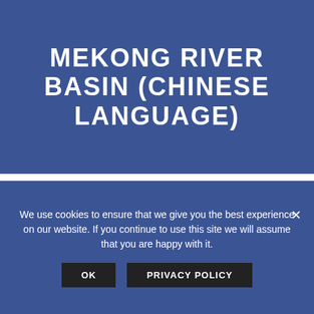MEKONG RIVER BASIN (CHINESE LANGUAGE)
[Figure (screenshot): Document preview showing a 'State of Knowledge' publication cover with Chinese title about China's influence on hydropower development in the Mekong and Lancang River basins.]
We use cookies to ensure that we give you the best experience on our website. If you continue to use this site we will assume that you are happy with it.
OK   PRIVACY POLICY